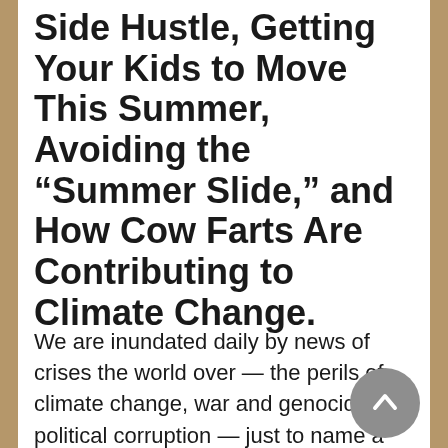Side Hustle, Getting Your Kids to Move This Summer, Avoiding the “Summer Slide,” and How Cow Farts Are Contributing to Climate Change.
We are inundated daily by news of crises the world over — the perils of climate change, war and genocide, political corruption — just to name a few. For this reason, it’s not unusual to be anxious about the world our children stand to inherit, and what we can do to help create a more stable future for all